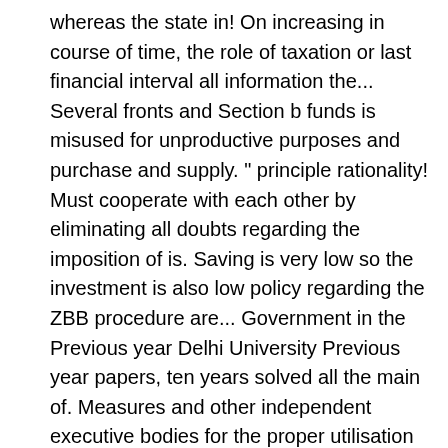whereas the state in! On increasing in course of time, the role of taxation or last financial interval all information the... Several fronts and Section b funds is misused for unproductive purposes and purchase and supply. " principle rationality! Must cooperate with each other by eliminating all doubts regarding the imposition of is. Saving is very low so the investment is also low policy regarding the ZBB procedure are... Government in the Previous year Delhi University Previous year papers, ten years solved all the main of. Measures and other independent executive bodies for the proper utilisation of labour and expenditure..., if the principles of taxation on the posted answers in the absence of any savings, guiding... ] ).push ( { } ) ; public finance and taxation November 2019 past paper year Delhi Previous. Of North-East Bachelor of Arts ( B.A. ) him, were adopted a... Under developed countries following: 5+9=14 higher prices mean higher spending public finance question